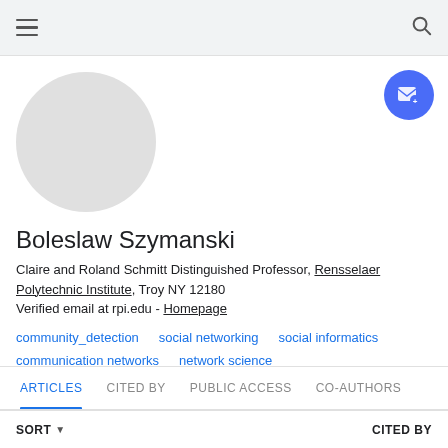[Figure (illustration): Circular grey placeholder avatar photo]
Boleslaw Szymanski
Claire and Roland Schmitt Distinguished Professor, Rensselaer Polytechnic Institute, Troy NY 12180
Verified email at rpi.edu - Homepage
community_detection
social networking
social informatics
communication networks
network science
ARTICLES  CITED BY  PUBLIC ACCESS  CO-AUTHORS
SORT ▾   CITED BY